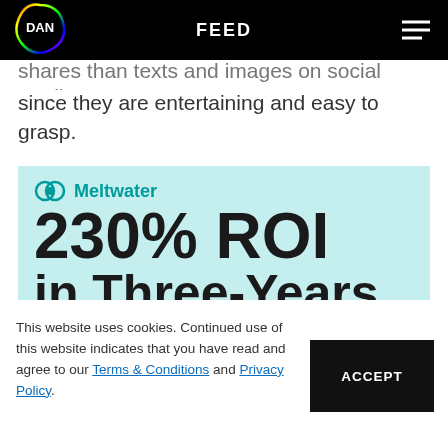FEED
shares than texts and images on social media since they are entertaining and easy to grasp.
[Figure (infographic): Meltwater branded infographic banner with teal/cyan background showing '230% ROI in Three-Years' in large bold dark text, with Meltwater logo at top and partial text 'Discover how agencies' at bottom with a small green building/graph illustration.]
This website uses cookies. Continued use of this website indicates that you have read and agree to our Terms & Conditions and Privacy Policy.